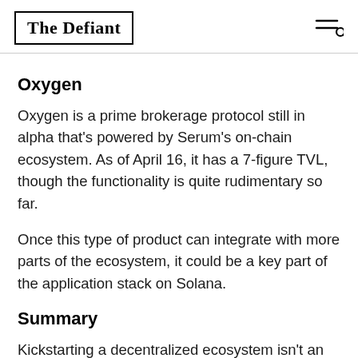The Defiant
Oxygen
Oxygen is a prime brokerage protocol still in alpha that's powered by Serum's on-chain ecosystem. As of April 16, it has a 7-figure TVL, though the functionality is quite rudimentary so far.
Once this type of product can integrate with more parts of the ecosystem, it could be a key part of the application stack on Solana.
Summary
Kickstarting a decentralized ecosystem isn't an easy feat. While Solana offers lightning-fast transaction